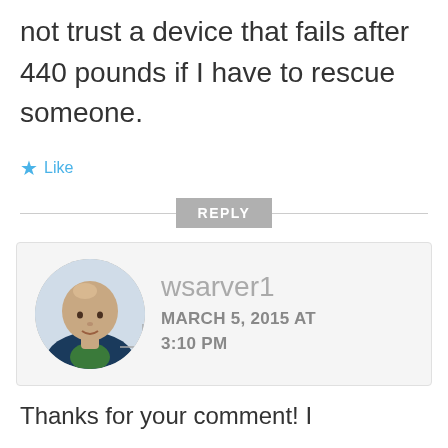not trust a device that fails after 440 pounds if I have to rescue someone.
★ Like
REPLY
[Figure (photo): Round avatar photo of a bald man wearing a dark blue and green polo shirt]
wsarver1
MARCH 5, 2015 AT 3:10 PM
Thanks for your comment! I